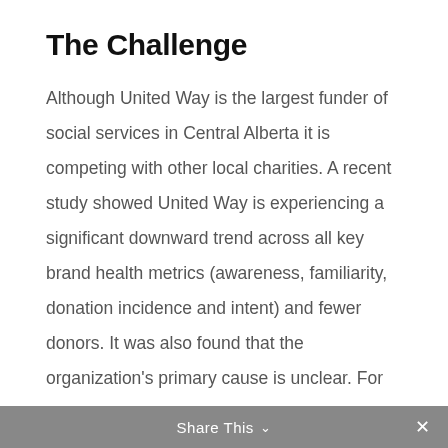The Challenge
Although United Way is the largest funder of social services in Central Alberta it is competing with other local charities. A recent study showed United Way is experiencing a significant downward trend across all key brand health metrics (awareness, familiarity, donation incidence and intent) and fewer donors. It was also found that the organization’s primary cause is unclear. For the campaign creative it was crucial to show the local impact to the community.
Share This ∨  ×